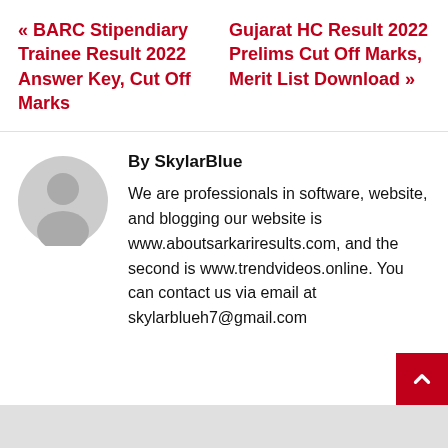« BARC Stipendiary Trainee Result 2022 Answer Key, Cut Off Marks
Gujarat HC Result 2022 Prelims Cut Off Marks, Merit List Download »
By SkylarBlue
[Figure (illustration): Gray circular avatar placeholder icon showing a silhouette of a person]
We are professionals in software, website, and blogging our website is www.aboutsarkariresults.com, and the second is www.trendvideos.online. You can contact us via email at skylarblueh7@gmail.com